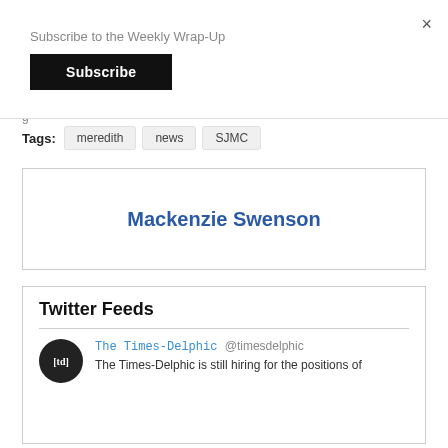Subscribe to the Weekly Wrap-Up
Subscribe
×
g
Tags:  meredith  news  SJMC
Mackenzie Swenson
Twitter Feeds
The Times-Delphic @timesdelphic
The Times-Delphic is still hiring for the positions of